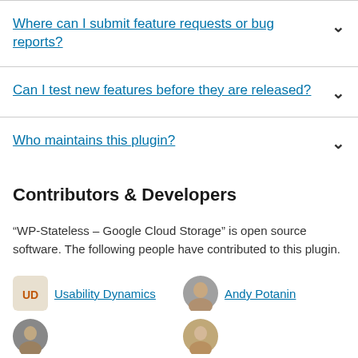Where can I submit feature requests or bug reports?
Can I test new features before they are released?
Who maintains this plugin?
Contributors & Developers
“WP-Stateless – Google Cloud Storage” is open source software. The following people have contributed to this plugin.
Usability Dynamics
Andy Potanin